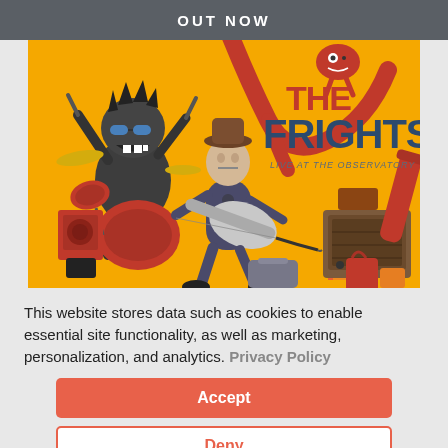OUT NOW
[Figure (illustration): Album art for 'The Frights - Live at the Observatory'. Yellow background with cartoon illustration of a band: a monster playing drums, a guitarist in the center, and an amplifier setup on the right. Red text reads 'THE FRIGHTS', smaller gray italic text reads 'LIVE AT THE OBSERVATORY'. A red tree branch with a cartoon creature hangs above.]
This website stores data such as cookies to enable essential site functionality, as well as marketing, personalization, and analytics. Privacy Policy
Accept
Deny